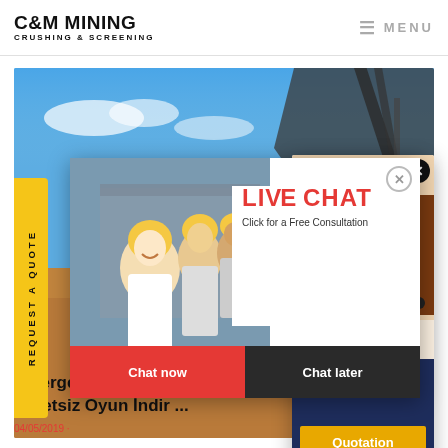C&M MINING CRUSHING & SCREENING | MENU
[Figure (photo): Hero background image showing a mining/quarry site with orange earth, blue sky, and industrial crane/conveyor machinery on the right. Workers in yellow hard hats visible in popup overlay. Text 'C&M M...' in yellow at bottom.]
[Figure (screenshot): Live chat popup overlay with workers in yellow hard hats on left side, 'LIVE CHAT' in red bold text, 'Click for a Free Consultation' subtitle, 'Chat now' red button and 'Chat later' dark button at bottom. Small close (X) circle button top-right.]
[Figure (photo): Right side popup with a woman wearing a headset smiling (customer support agent), dark navy background with italic text 'Have any requests, click here.' and a gold 'Quotation' button. Black close X circle at top-right.]
Emergency Ambulance Simul... Ücretsiz Oyun İndir ...
REQUEST A QUOTE (sidebar vertical label)